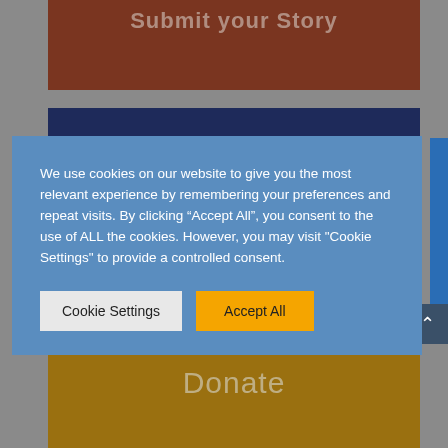Submit your Story
[Figure (screenshot): Dark navy header bar]
We use cookies on our website to give you the most relevant experience by remembering your preferences and repeat visits. By clicking “Accept All”, you consent to the use of ALL the cookies. However, you may visit "Cookie Settings" to provide a controlled consent.
Cookie Settings | Accept All
Donate